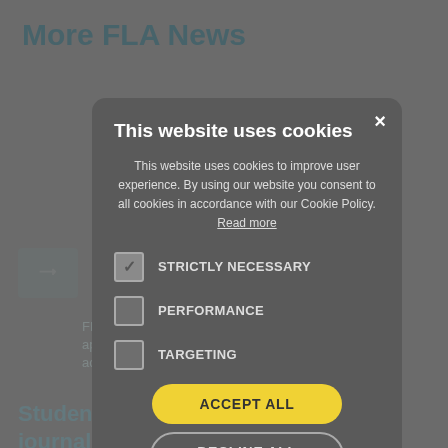More FLA News
[Figure (screenshot): Cookie consent modal dialog overlay on a website page showing FLA News content in the background]
This website uses cookies
This website uses cookies to improve user experience. By using our website you consent to all cookies in accordance with our Cookie Policy. Read more
STRICTLY NECESSARY (checked)
PERFORMANCE (unchecked)
TARGETING (unchecked)
ACCEPT ALL
DECLINE ALL
Students tackle timely topics in a journal dedicated to social